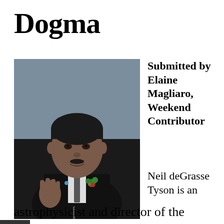Dogma
[Figure (photo): Portrait photo of Neil deGrasse Tyson in a dark suit with a floral boutonniere, raising one hand as if gesturing while speaking]
Submitted by Elaine Magliaro, Weekend Contributor
Neil deGrasse Tyson is an astrophysicist and director of the